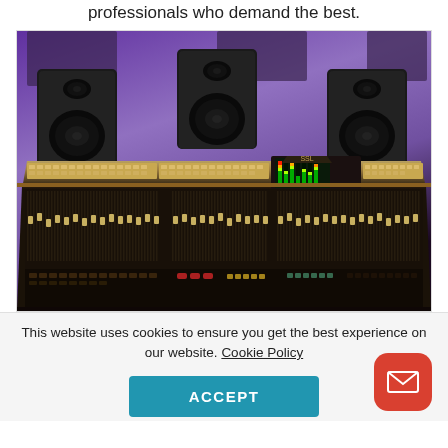professionals who demand the best.
[Figure (photo): Professional recording studio mixing console (audio mixer/soundboard) with multiple speakers mounted above, illuminated with purple/blue ambient lighting. The large mixing desk has numerous faders, knobs, and a central display screen.]
This website uses cookies to ensure you get the best experience on our website. Cookie Policy
ACCEPT